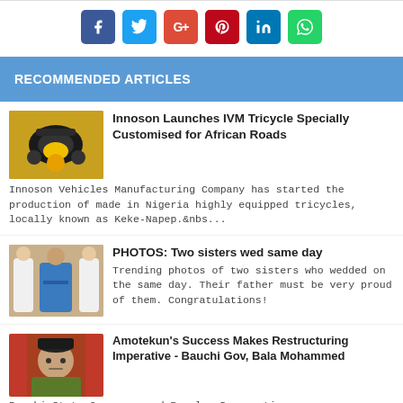[Figure (other): Social media share buttons: Facebook (blue), Twitter (light blue), Google+ (red), Pinterest (dark red), LinkedIn (blue), WhatsApp (green)]
RECOMMENDED ARTICLES
[Figure (photo): Photo of a yellow IVM tricycle (Keke-Napep) viewed from the front]
Innoson Launches IVM Tricycle Specially Customised for African Roads
Innoson Vehicles Manufacturing Company has started the production of made in Nigeria highly equipped tricycles, locally known as Keke-Napep.&nbs...
[Figure (photo): Photo of a man in blue attire flanked by two women in white wedding dresses]
PHOTOS: Two sisters wed same day
Trending photos of two sisters who wedded on the same day. Their father must be very proud of them. Congratulations!
[Figure (photo): Photo of a man in a dark cap and green attire against a red background]
Amotekun's Success Makes Restructuring Imperative - Bauchi Gov, Bala Mohammed
Bauchi State Governor and Peoples Democratic